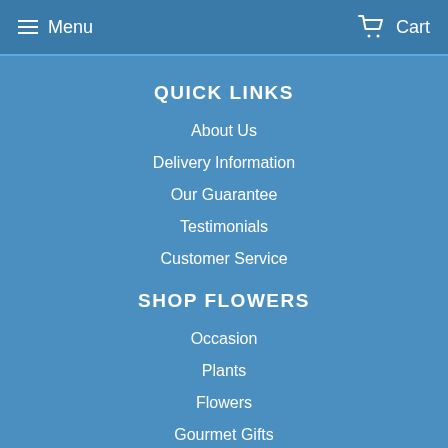Menu  Cart
QUICK LINKS
About Us
Delivery Information
Our Guarantee
Testimonials
Customer Service
SHOP FLOWERS
Occasion
Plants
Flowers
Gourmet Gifts
Same Day
NEWSLETTER